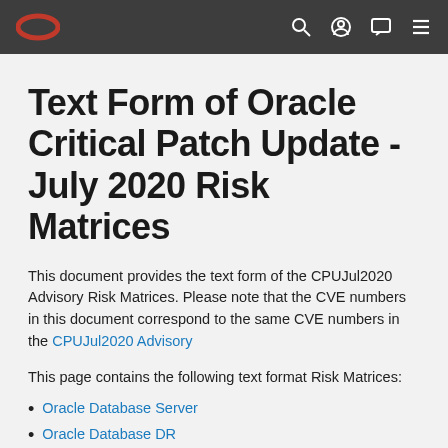Oracle navigation bar with Oracle logo and icons
Text Form of Oracle Critical Patch Update - July 2020 Risk Matrices
This document provides the text form of the CPUJul2020 Advisory Risk Matrices. Please note that the CVE numbers in this document correspond to the same CVE numbers in the CPUJul2020 Advisory
This page contains the following text format Risk Matrices:
Oracle Database Server
Oracle Database DR